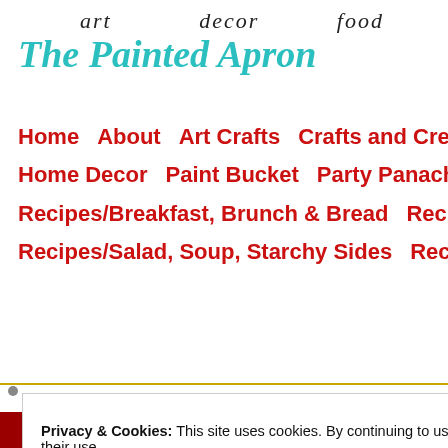[Figure (logo): The Painted Apron blog header with script words 'art', 'decor', 'food' and teal italic site title 'The Painted Apron']
Home   About   Art Crafts   Crafts and Creations   Home Decor   Paint Bucket   Party Panache   Pr...   Recipes/Breakfast, Brunch & Bread   Recipes/Cro...   Recipes/Salad, Soup, Starchy Sides   Recipes/Veg...
Privacy & Cookies: This site uses cookies. By continuing to use this website, you agree to their use. To find out more, including how to control cookies, see here: Cookie Policy
Close and accept
[Figure (photo): Partial view of a red banner at the bottom showing the word TEARS in white bold letters]